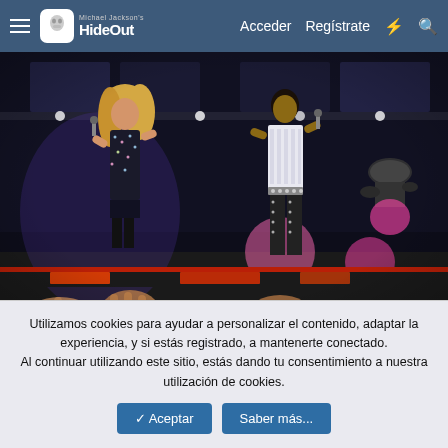Michael Jackson's HideOut — Acceder  Regístrate
[Figure (photo): Concert photo showing two performers on stage with colorful stage lighting. A female performer in a sequined outfit on the left and a male performer in a studded outfit on the right, with audience hands visible in the foreground.]
alamy - 2E97JES
Utilizamos cookies para ayudar a personalizar el contenido, adaptar la experiencia, y si estás registrado, a mantenerte conectado.
Al continuar utilizando este sitio, estás dando tu consentimiento a nuestra utilización de cookies.
✓ Aceptar   Saber más...